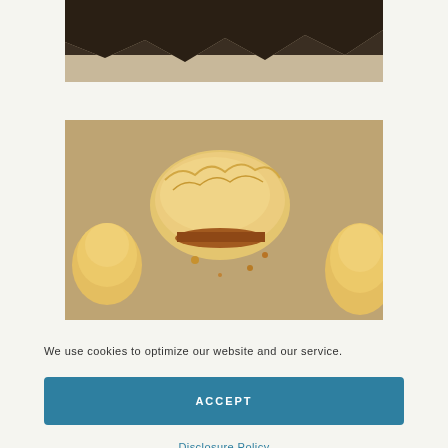[Figure (photo): Partial view of a baked pastry item on parchment paper, top cropped]
[Figure (photo): Close-up photo of golden baked pastry puffs on parchment paper, showing flaky layered texture with visible filling]
We use cookies to optimize our website and our service.
ACCEPT
Disclosure Policy